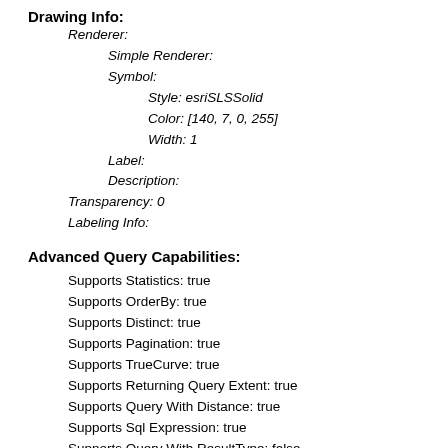Drawing Info:
Renderer:
Simple Renderer:
Symbol:
Style: esriSLSSolid
Color: [140, 7, 0, 255]
Width: 1
Label:
Description:
Transparency: 0
Labeling Info:
Advanced Query Capabilities:
Supports Statistics: true
Supports OrderBy: true
Supports Distinct: true
Supports Pagination: true
Supports TrueCurve: true
Supports Returning Query Extent: true
Supports Query With Distance: true
Supports Sql Expression: true
Supports Query With ResultType: false
Supports Returning Geometry Centroid: false
HasZ: false